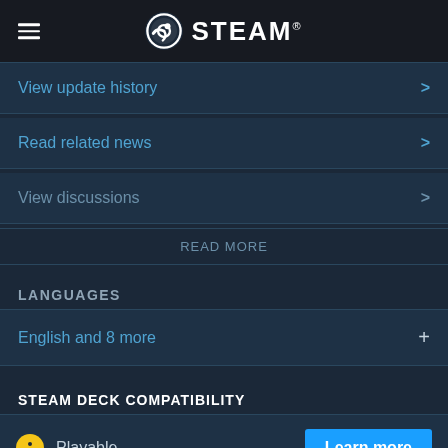STEAM
View update history >
Read related news >
View discussions >
READ MORE
LANGUAGES
English and 8 more +
STEAM DECK COMPATIBILITY
Playable   Learn more